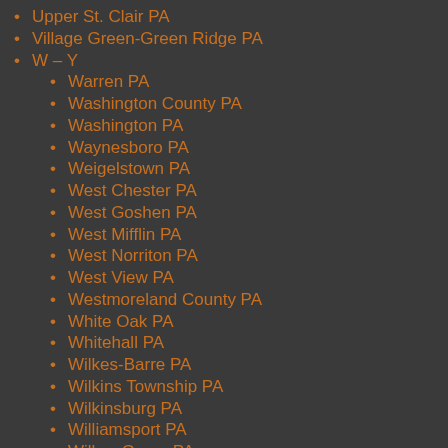Upper St. Clair PA
Village Green-Green Ridge PA
W – Y
Warren PA
Washington County PA
Washington PA
Waynesboro PA
Weigelstown PA
West Chester PA
West Goshen PA
West Mifflin PA
West Norriton PA
West View PA
Westmoreland County PA
White Oak PA
Whitehall PA
Wilkes-Barre PA
Wilkins Township PA
Wilkinsburg PA
Williamsport PA
Willow Grove PA
Willow Street PA
Wilson PA